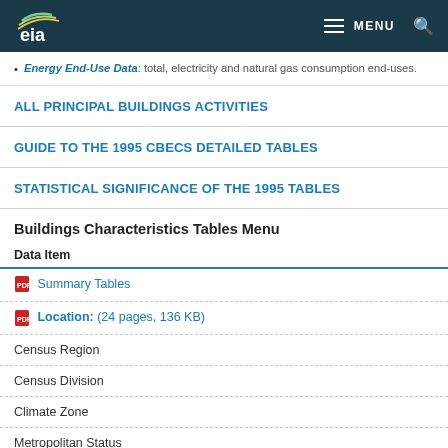EIA — MENU (navigation bar)
Energy End-Use Data: total, electricity and natural gas consumption end-uses.
ALL PRINCIPAL BUILDINGS ACTIVITIES
GUIDE TO THE 1995 CBECS DETAILED TABLES
STATISTICAL SIGNIFICANCE OF THE 1995 TABLES
Buildings Characteristics Tables Menu
| Data Item |
| --- |
| Summary Tables |
| Location: (24 pages, 136 KB) |
| Census Region |
| Census Division |
| Climate Zone |
| Metropolitan Status |
| Structure: (16 pages, 93 KB) |